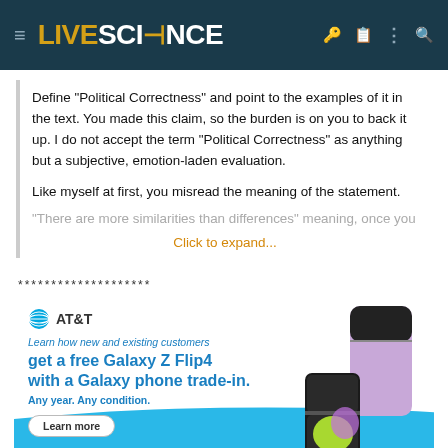LIVE SCIENCE
Define "Political Correctness" and point to the examples of it in the text. You made this claim, so the burden is on you to back it up. I do not accept the term "Political Correctness" as anything but a subjective, emotion-laden evaluation.

Like myself at first, you misread the meaning of the statement. "There are more similarities than differences" meaning, once you
Click to expand...
********************
[Figure (advertisement): AT&T advertisement for Samsung Galaxy Z Flip4. Text: 'Learn how new and existing customers get a free Galaxy Z Flip4 with a Galaxy phone trade-in. Any year. Any condition.' Learn more button. Samsung Galaxy Z Flip4 logo.]